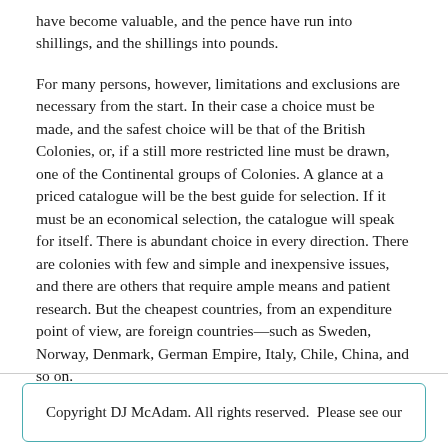have become valuable, and the pence have run into shillings, and the shillings into pounds.
For many persons, however, limitations and exclusions are necessary from the start. In their case a choice must be made, and the safest choice will be that of the British Colonies, or, if a still more restricted line must be drawn, one of the Continental groups of Colonies. A glance at a priced catalogue will be the best guide for selection. If it must be an economical selection, the catalogue will speak for itself. There is abundant choice in every direction. There are colonies with few and simple and inexpensive issues, and there are others that require ample means and patient research. But the cheapest countries, from an expenditure point of view, are foreign countries—such as Sweden, Norway, Denmark, German Empire, Italy, Chile, China, and so on.
Copyright DJ McAdam. All rights reserved. Please see our